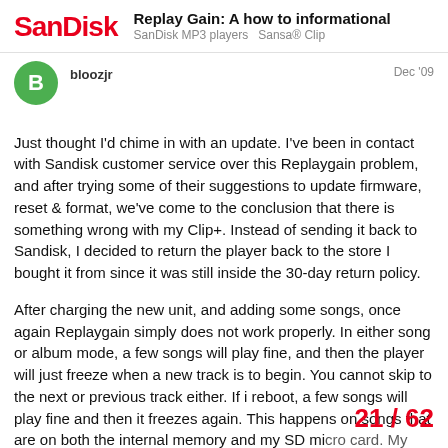SanDisk | Replay Gain: A how to informational | SanDisk MP3 players Sansa® Clip
bloozjr
Dec '09
Just thought I'd chime in with an update. I've been in contact with Sandisk customer service over this Replaygain problem, and after trying some of their suggestions to update firmware, reset & format, we've come to the conclusion that there is something wrong with my Clip+. Instead of sending it back to Sandisk, I decided to return the player back to the store I bought it from since it was still inside the 30-day return policy.
After charging the new unit, and adding some songs, once again Replaygain simply does not work properly. In either song or album mode, a few songs will play fine, and then the player will just freeze when a new track is to begin. You cannot skip to the next or previous track either. If i reboot, a few songs will play fine and then it freezes again. This happens on songs that are on both the internal memory and my SD micro card. My files are a mix of MP3's and WMA's, and i would gu... the problem since the Clip+ accepts both...
21 / 62